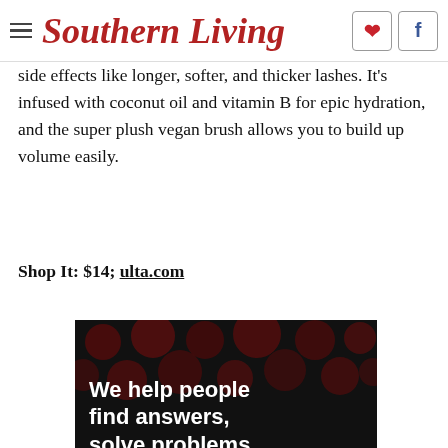Southern Living
side effects like longer, softer, and thicker lashes. It's infused with coconut oil and vitamin B for epic hydration, and the super plush vegan brush allows you to build up volume easily.
Shop It: $14; ulta.com
[Figure (other): Advertisement showing text 'We help people find answers, solve problems' on a dark background with red bokeh dots, followed by a light green banner with 'Better' logo and 'See your mortgage rates' button. Better Mortgage Corp. NMLS #330511]